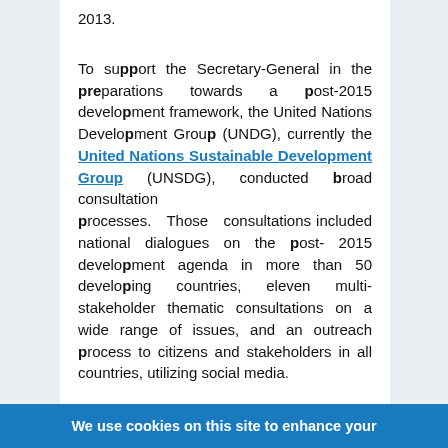2013.
To support the Secretary-General in the preparations towards a post-2015 development framework, the United Nations Development Group (UNDG), currently the United Nations Sustainable Development Group (UNSDG), conducted broad consultation processes. Those consultations included national dialogues on the post-2015 development agenda in more than 50 developing countries, eleven multi-stakeholder thematic consultations on a wide range of issues, and an outreach process to citizens and stakeholders in all countries, utilizing social media.
The High-level Committee on Programme (HLCP) took up the issue of the post-2015 development agenda
We use cookies on this site to enhance your